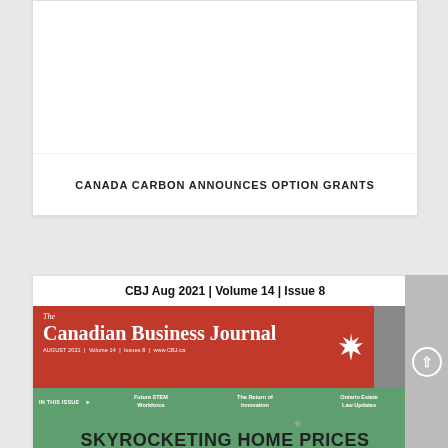[Figure (other): White card with blank image area above text title]
CANADA CARBON ANNOUNCES OPTION GRANTS
CBJ Aug 2021 | Volume 14 | Issue 8
[Figure (illustration): The Canadian Business Journal magazine cover, August 2021, Volume 14, Issue 8, with red banner, maple leaf logo, green background, IN THIS ISSUE section listing Future STEM Workforce, The Return of Innovation, Ontario Estate Law Updates, and bottom text SKYROCKETING HOME PRICES]